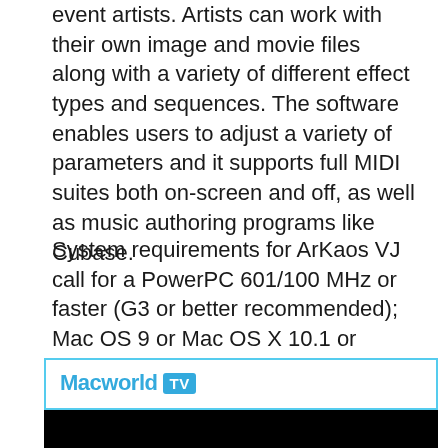event artists. Artists can work with their own image and movie files along with a variety of different effect types and sequences. The software enables users to adjust a variety of parameters and it supports full MIDI suites both on-screen and off, as well as music authoring programs like Cubase.
System requirements for ArKaos VJ call for a PowerPC 601/100 MHz or faster (G3 or better recommended); Mac OS 9 or Mac OS X 10.1 or higher; 32MB RAM, 64MB recommended; MP3 player software; QuickTime 4.x or higher; 20MB free HD space.
[Figure (logo): Macworld TV logo inside a light blue bordered box, with 'Macworld' in blue text and 'TV' in a blue badge, followed by a black video area below]